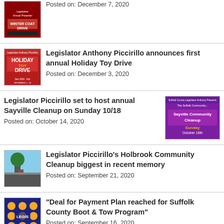[Figure (photo): Small thumbnail of a red flyer for a Winter Coat Drive event]
Posted on: December 7, 2020
Legislator Anthony Piccirillo announces first annual Holiday Toy Drive
[Figure (photo): Red Holiday Toy Drive flyer thumbnail]
Posted on: December 3, 2020
Legislator Piccirillo set to host annual Sayville Cleanup on Sunday 10/18
[Figure (photo): Sayville Community Cleanup promotional flyer thumbnail]
Posted on: October 14, 2020
Legislator Piccirillo's Holbrook Community Cleanup biggest in recent memory
[Figure (photo): Photo of a person on a road during cleanup]
Posted on: September 21, 2020
“Deal for Payment Plan reached for Suffolk County Boot & Tow Program”
[Figure (photo): Photo of legislator at podium with yellow dot background]
Posted on: September 16, 2020
“Piccirillo passes Transition of Powers Bill with
[Figure (photo): Thumbnail of legislator with blue and yellow dot background]